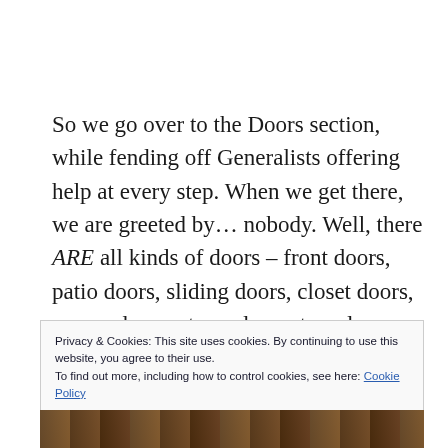So we go over to the Doors section, while fending off Generalists offering help at every step. When we get there, we are greeted by… nobody. Well, there ARE all kinds of doors – front doors, patio doors, sliding doors, closet doors, screen doors, storm doors, trap doors, hidden doors – as you can probably not really see in this picture:
Privacy & Cookies: This site uses cookies. By continuing to use this website, you agree to their use.
To find out more, including how to control cookies, see here: Cookie Policy
[Close and accept]
[Figure (photo): Partial photo strip visible at the bottom of the page, showing what appears to be doors or wooden objects in dark tones.]